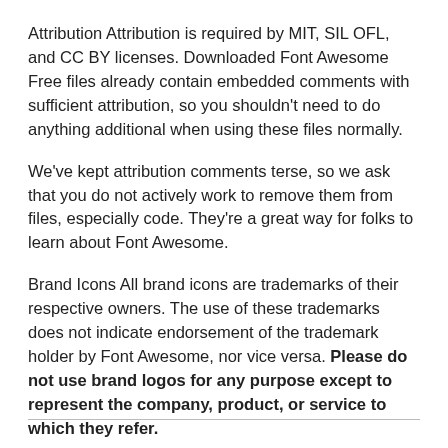Attribution Attribution is required by MIT, SIL OFL, and CC BY licenses. Downloaded Font Awesome Free files already contain embedded comments with sufficient attribution, so you shouldn't need to do anything additional when using these files normally.
We've kept attribution comments terse, so we ask that you do not actively work to remove them from files, especially code. They're a great way for folks to learn about Font Awesome.
Brand Icons All brand icons are trademarks of their respective owners. The use of these trademarks does not indicate endorsement of the trademark holder by Font Awesome, nor vice versa. Please do not use brand logos for any purpose except to represent the company, product, or service to which they refer.